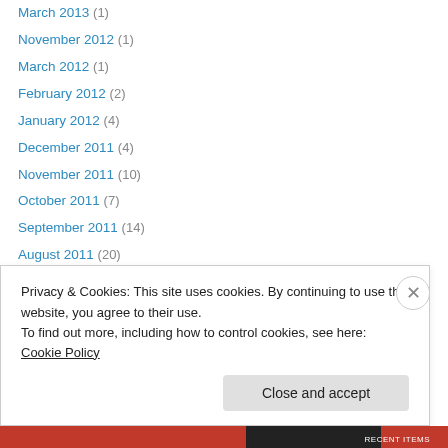March 2013 (1)
November 2012 (1)
March 2012 (1)
February 2012 (2)
January 2012 (4)
December 2011 (4)
November 2011 (10)
October 2011 (7)
September 2011 (14)
August 2011 (20)
July 2011 (8)
June 2011 (7)
May 2011 (3)
Privacy & Cookies: This site uses cookies. By continuing to use this website, you agree to their use.
To find out more, including how to control cookies, see here: Cookie Policy
Close and accept